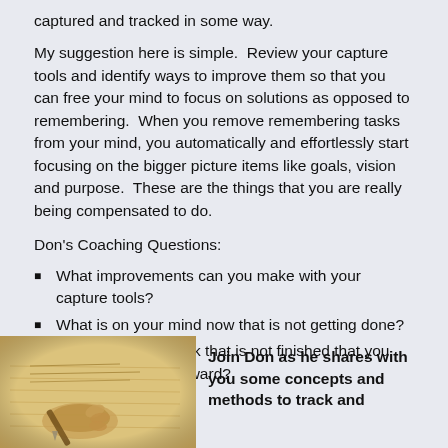captured and tracked in some way.
My suggestion here is simple.  Review your capture tools and identify ways to improve them so that you can free your mind to focus on solutions as opposed to remembering.  When you remove remembering tasks from your mind, you automatically and effortlessly start focusing on the bigger picture items like goals, vision and purpose.  These are the things that you are really being compensated to do.
Don's Coaching Questions:
What improvements can you make with your capture tools?
What is on your mind now that is not getting done?
What is on your desk that is not finished that you would like move forward?
[Figure (photo): Sepia-toned photo of a hand writing on paper with a pen]
Join Don as he shares with you some concepts and methods to track and